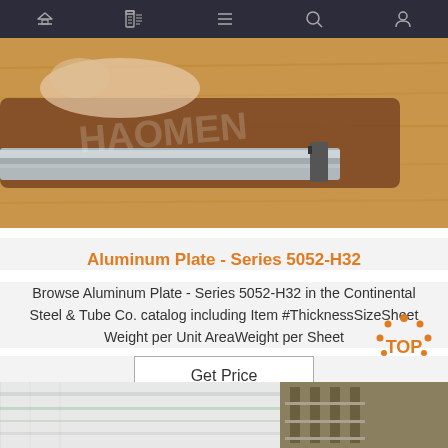Navigation bar with home, menu, document, search, and account icons
[Figure (photo): Close-up photo of aluminum plate/strip being bent or clamped, showing metallic silver material against brown/tan surface with watermark text in background]
Aluminum Plate - Series 5052-H32
Browse Aluminum Plate - Series 5052-H32 in the Continental Steel & Tube Co. catalog including Item #ThicknessSizeSheet Weight per Unit AreaWeight per Sheet
Get Price
[Figure (photo): Partial photo at bottom of page showing white sheet material and warehouse/storage in background; TOP badge/logo visible in bottom-right corner]